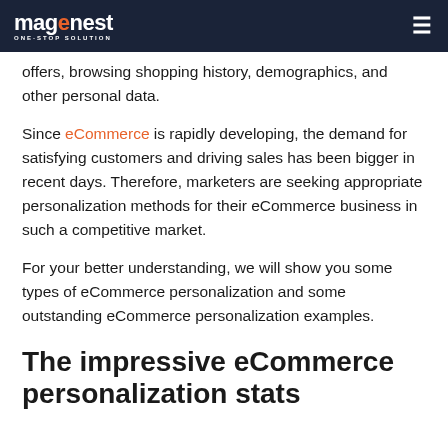magenest ONE-STOP SOLUTION
offers, browsing shopping history, demographics, and other personal data.
Since eCommerce is rapidly developing, the demand for satisfying customers and driving sales has been bigger in recent days. Therefore, marketers are seeking appropriate personalization methods for their eCommerce business in such a competitive market.
For your better understanding, we will show you some types of eCommerce personalization and some outstanding eCommerce personalization examples.
The impressive eCommerce personalization stats